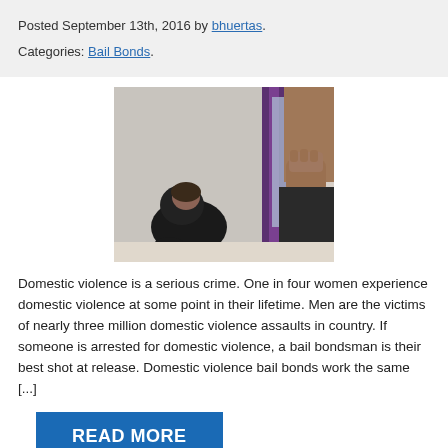Posted September 13th, 2016 by bhuertas.
Categories: Bail Bonds.
[Figure (photo): A person crouching against a wall with another person's raised fist visible in the foreground, purple curtain in background — domestic violence imagery.]
Domestic violence is a serious crime. One in four women experience domestic violence at some point in their lifetime. Men are the victims of nearly three million domestic violence assaults in country. If someone is arrested for domestic violence, a bail bondsman is their best shot at release. Domestic violence bail bonds work the same [...]
READ MORE